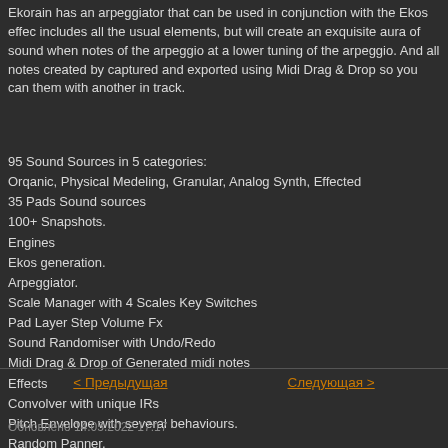Ekorain has an arpeggiator that can be used in conjunction with the Ekos effects includes all the usual elements, but will create an exquisite aura of sound when notes of the arpeggio at a lower tuning of the arpeggio. And all notes created by captured and exported using Midi Drag & Drop so you can them with another in track.
95 Sound Sources in 5 categories:
Orqanic, Physical Medeling, Granular, Analog Synth, Effected
35 Pads Sound sources
100+ Snapshots.
Engines
Ekos generation.
Arpeggiator.
Scale Manager with 4 Scales Key Switches
Pad Layer Step Volume Fx
Sound Randomiser with Undo/Redo
Midi Drag & Drop of Generated midi notes
Effects
Convolver with unique IRs
Pitch Envelope with several behaviours.
Random Panner.
Pad Freeze effect of last notes performed.
< Предыдущая    Следующая >
Обновлено 14.05.2022 17:17